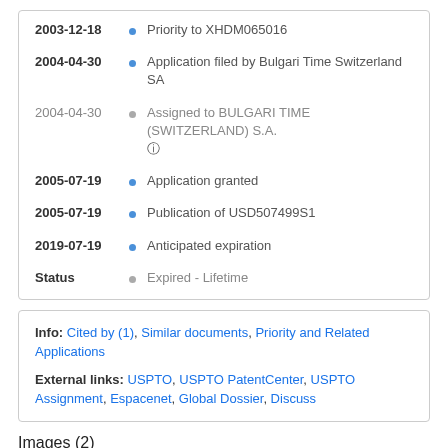2003-12-18 · Priority to XHDM065016
2004-04-30 · Application filed by Bulgari Time Switzerland SA
2004-04-30 · Assigned to BULGARI TIME (SWITZERLAND) S.A. (?)
2005-07-19 · Application granted
2005-07-19 · Publication of USD507499S1
2019-07-19 · Anticipated expiration
Status · Expired - Lifetime
Info: Cited by (1), Similar documents, Priority and Related Applications
External links: USPTO, USPTO PatentCenter, USPTO Assignment, Espacenet, Global Dossier, Discuss
Images (2)
[Figure (illustration): Two patent drawings of a watch/bracelet design]